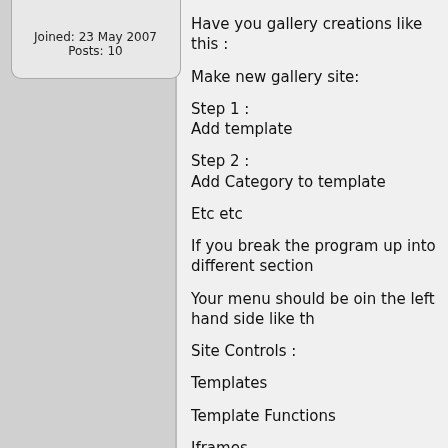Joined: 23 May 2007
Posts: 10
Have you gallery creations like this :
Make new gallery site:
Step 1 :
Add template
Step 2 :
Add Category to template
Etc etc
If you break the program up into different section
Your menu should be oin the left hand side like th
Site Controls :
Templates
Template Functions
Iframes
Meta Tags
Content :
Text Galleries
Etc